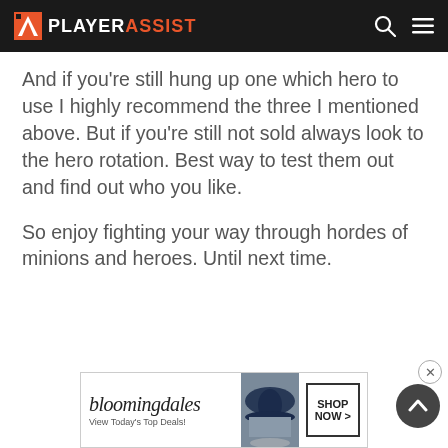PLAYERASSIST
And if you're still hung up one which hero to use I highly recommend the three I mentioned above. But if you're still not sold always look to the hero rotation. Best way to test them out and find out who you like.
So enjoy fighting your way through hordes of minions and heroes. Until next time.
[Figure (advertisement): Bloomingdales advertisement banner with hat image. Text: bloomingdales, View Today's Top Deals!, SHOP NOW >]